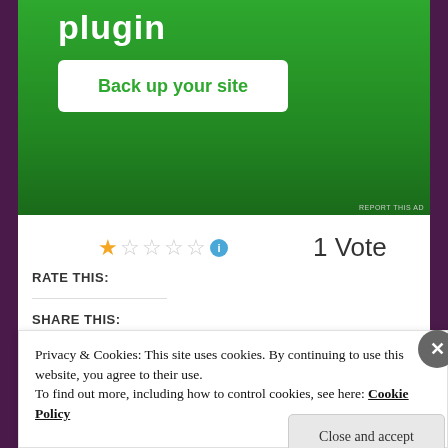[Figure (screenshot): Green advertisement banner with bold white text 'plugin' and a white button labeled 'Back up your site']
REPORT THIS AD
★☆☆☆☆ ℹ 1 Vote
RATE THIS:
SHARE THIS:
[Figure (screenshot): LinkedIn Share button (blue) and Twitter Tweet button (light blue rounded)]
[Figure (screenshot): Like button with star icon and two user avatar thumbnails]
Privacy & Cookies: This site uses cookies. By continuing to use this website, you agree to their use.
To find out more, including how to control cookies, see here: Cookie Policy
Close and accept